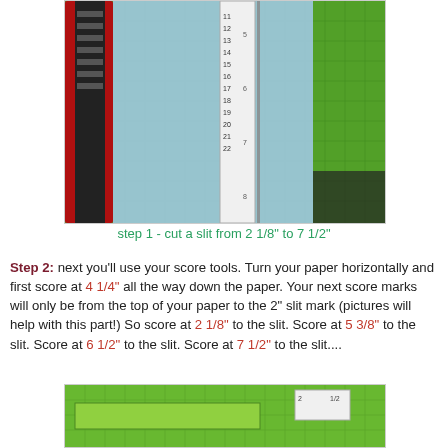[Figure (photo): Photo of blue paper on a green cutting mat with a white ruler and red/black scoring tool, showing paper trimming setup]
step 1 - cut a slit from 2 1/8" to 7 1/2"
Step 2: next you'll use your score tools. Turn your paper horizontally and first score at 4 1/4" all the way down the paper. Your next score marks will only be from the top of your paper to the 2" slit mark (pictures will help with this part!) So score at 2 1/8" to the slit. Score at 5 3/8" to the slit. Score at 6 1/2" to the slit. Score at 7 1/2" to the slit....
[Figure (photo): Photo of green cardstock/paper on a cutting mat with scoring tools visible at top right]